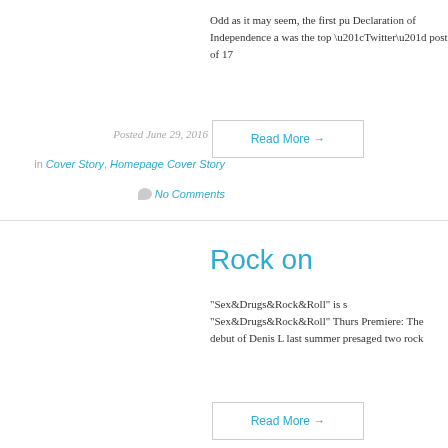Odd as it may seem, the first pu Declaration of Independence a was the top “Twitter” post of 17
Posted June 29, 2016
Read More →
in Cover Story, Homepage Cover Story
No Comments
Rock on
“Sex&Drugs&Rock&Roll” is s “Sex&Drugs&Rock&Roll” Thurs Premiere: The debut of Denis L last summer presaged two rock
Read More →